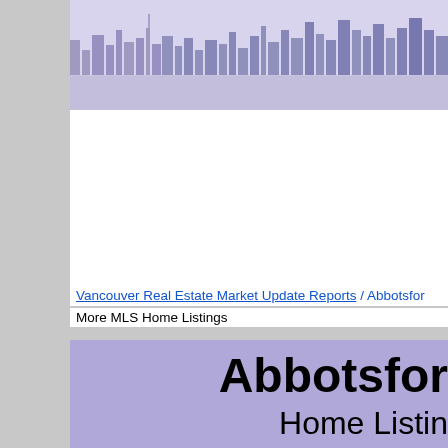[Figure (photo): City skyline photograph rendered in purple/blue monochrome tones, showing urban buildings and skyscrapers against a light background.]
Vancouver Real Estate Market Update Reports / Abbotsfor
More MLS Home Listings
Abbotsfor
Home Listin